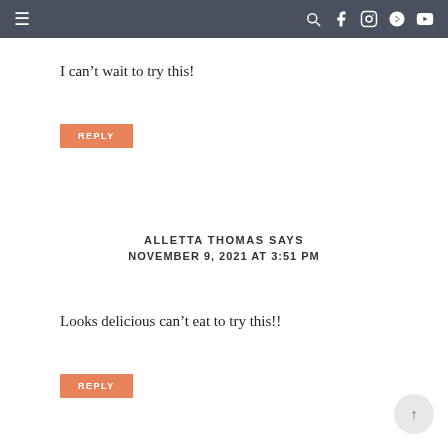≡  🔍 f 📷 p ▶
I can't wait to try this!
REPLY
ALLETTA THOMAS SAYS
NOVEMBER 9, 2021 AT 3:51 PM
Looks delicious can't eat to try this!!
REPLY